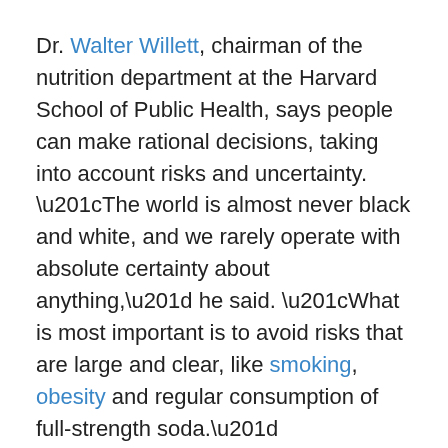Dr. Walter Willett, chairman of the nutrition department at the Harvard School of Public Health, says people can make rational decisions, taking into account risks and uncertainty. “The world is almost never black and white, and we rarely operate with absolute certainty about anything,” he said. “What is most important is to avoid risks that are large and clear, like smoking, obesity and regular consumption of full-strength soda.”
Chemical Concerns
Saccharin, aspartame, sucralose and acesulfame potassium are all molecules that sidle up to certain proteins on the surface of the tongues, tickling neurons that then send a signal that exclaims to the brain: “Sweet!”
The concerns arise over what happens to the artificial